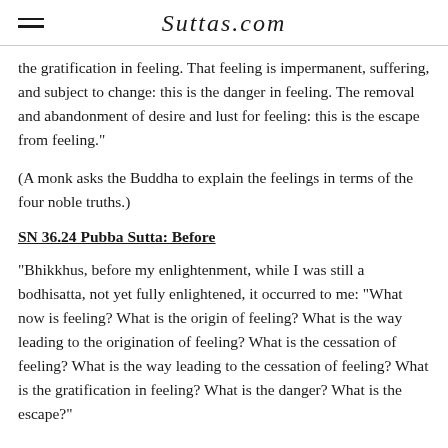Suttas.com
the gratification in feeling. That feeling is impermanent, suffering, and subject to change: this is the danger in feeling. The removal and abandonment of desire and lust for feeling: this is the escape from feeling."
(A monk asks the Buddha to explain the feelings in terms of the four noble truths.)
SN 36.24 Pubba Sutta: Before
"Bhikkhus, before my enlightenment, while I was still a bodhisatta, not yet fully enlightened, it occurred to me: "What now is feeling? What is the origin of feeling? What is the way leading to the origination of feeling? What is the cessation of feeling? What is the way leading to the cessation of feeling? What is the gratification in feeling? What is the danger? What is the escape?"